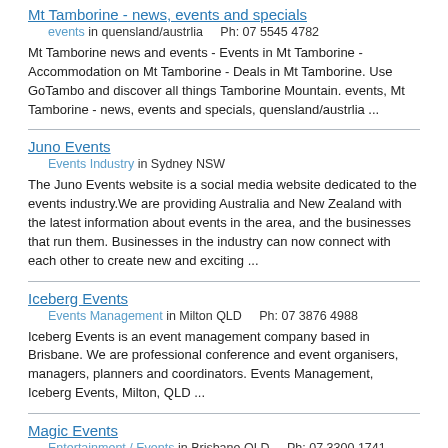Mt Tamborine - news, events and specials
events in quensland/austrlia    Ph: 07 5545 4782
Mt Tamborine news and events - Events in Mt Tamborine - Accommodation on Mt Tamborine - Deals in Mt Tamborine. Use GoTambo and discover all things Tamborine Mountain. events, Mt Tamborine - news, events and specials, quensland/austrlia ...
Juno Events
Events Industry in Sydney NSW
The Juno Events website is a social media website dedicated to the events industry.We are providing Australia and New Zealand with the latest information about events in the area, and the businesses that run them. Businesses in the industry can now connect with each other to create new and exciting ...
Iceberg Events
Events Management in Milton QLD    Ph: 07 3876 4988
Iceberg Events is an event management company based in Brisbane. We are professional conference and event organisers, managers, planners and coordinators. Events Management, Iceberg Events, Milton, QLD ...
Magic Events
Entertainment / Events in Brisbane QLD    Ph: 07 3300 1741
Walk around magic is always fun to watch. Glen Rhodes is the perfect roving